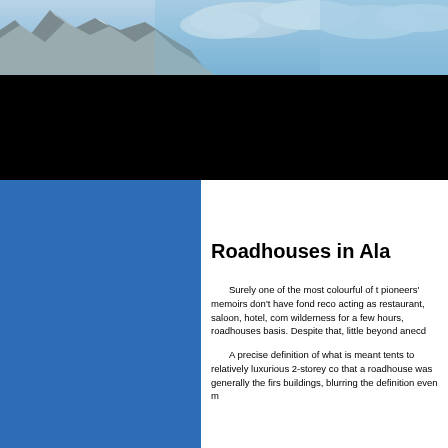[Figure (photo): Mountain landscape with snow-capped peaks and cloudy sky, panoramic strip at the top of the page]
Roadhouses in Ala
Surely one of the most colourful of t pioneers' memoirs don't have fond reco acting as restaurant, saloon, hotel, com wilderness for a few hours, roadhouses basis. Despite that, little beyond anecd
A precise definition of what is meant tents to relatively luxurious 2-storey co that a roadhouse was generally the firs buildings, blurring the definition even m